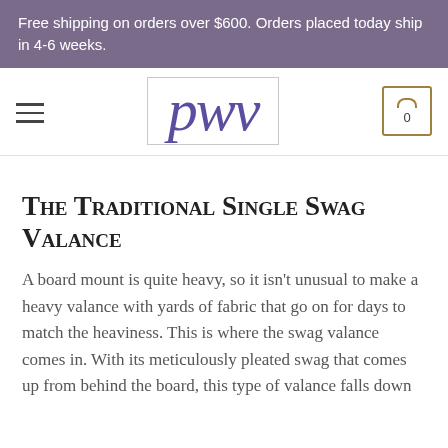Free shipping on orders over $600. Orders placed today ship in 4-6 weeks.
[Figure (logo): PWV logo in purple italic serif font inside a rectangular border, with hamburger menu icon on left and shopping cart with 0 on right]
The Traditional Single Swag Valance
A board mount is quite heavy, so it isn't unusual to make a heavy valance with yards of fabric that go on for days to match the heaviness. This is where the swag valance comes in. With its meticulously pleated swag that comes up from behind the board, this type of valance falls down